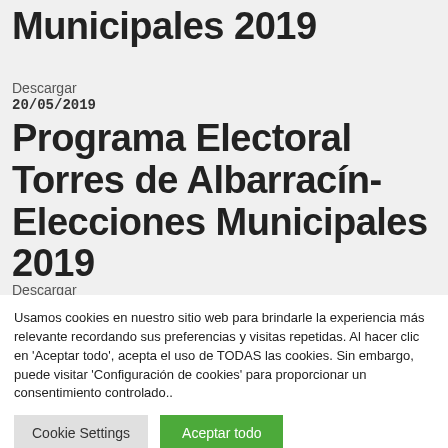Municipales 2019
Descargar
20/05/2019
Programa Electoral Torres de Albarracín- Elecciones Municipales 2019
Descargar
Usamos cookies en nuestro sitio web para brindarle la experiencia más relevante recordando sus preferencias y visitas repetidas. Al hacer clic en 'Aceptar todo', acepta el uso de TODAS las cookies. Sin embargo, puede visitar 'Configuración de cookies' para proporcionar un consentimiento controlado..